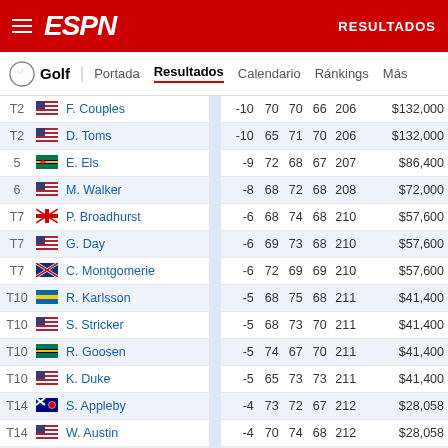ESPN - RESULTADOS
Golf | Portada | Resultados | Calendario | Ránkings | Más
| Pos | Flag | Name | Score | R1 | R2 | R3 | Total | Prize |
| --- | --- | --- | --- | --- | --- | --- | --- | --- |
| T2 | US | F. Couples | -10 | 70 | 70 | 66 | 206 | $132,000 |
| T2 | US | D. Toms | -10 | 65 | 71 | 70 | 206 | $132,000 |
| 5 | SA | E. Els | -9 | 72 | 68 | 67 | 207 | $86,400 |
| 6 | US | M. Walker | -8 | 68 | 72 | 68 | 208 | $72,000 |
| T7 | EN | P. Broadhurst | -6 | 68 | 74 | 68 | 210 | $57,600 |
| T7 | US | G. Day | -6 | 69 | 73 | 68 | 210 | $57,600 |
| T7 | SC | C. Montgomerie | -6 | 72 | 69 | 69 | 210 | $57,600 |
| T10 | SW | R. Karlsson | -5 | 68 | 75 | 68 | 211 | $41,400 |
| T10 | US | S. Stricker | -5 | 68 | 73 | 70 | 211 | $41,400 |
| T10 | SA | R. Goosen | -5 | 74 | 67 | 70 | 211 | $41,400 |
| T10 | US | K. Duke | -5 | 65 | 73 | 73 | 211 | $41,400 |
| T14 | AU | S. Appleby | -4 | 73 | 72 | 67 | 212 | $28,058 |
| T14 | US | W. Austin | -4 | 70 | 74 | 68 | 212 | $28,058 |
| T14 | US | T. Pernice Jr. | -4 | 69 | 74 | 69 | 212 | $28,058 |